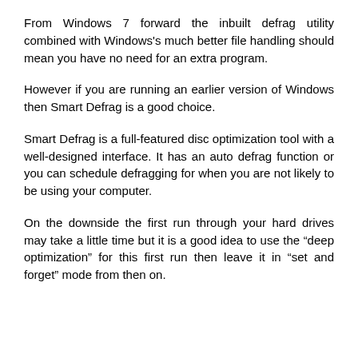From Windows 7 forward the inbuilt defrag utility combined with Windows's much better file handling should mean you have no need for an extra program.
However if you are running an earlier version of Windows then Smart Defrag is a good choice.
Smart Defrag is a full-featured disc optimization tool with a well-designed interface. It has an auto defrag function or you can schedule defragging for when you are not likely to be using your computer.
On the downside the first run through your hard drives may take a little time but it is a good idea to use the “deep optimization” for this first run then leave it in “set and forget” mode from then on.